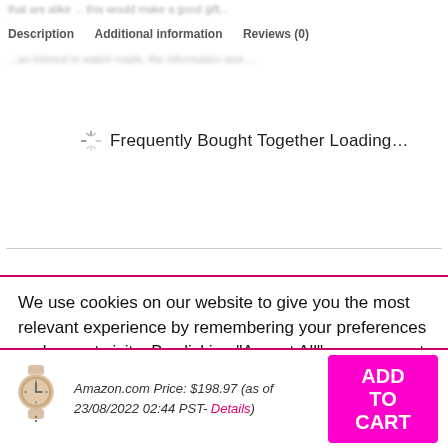Description   Additional information   Reviews (0)
Frequently Bought Together Loading...
We use cookies on our website to give you the most relevant experience by remembering your preferences and repeat visits. By clicking “Accept All”, you consent to the use of ALL the cookies. However, you may visit
Amazon.com Price: $198.97 (as of 23/08/2022 02:44 PST- Details)
ADD TO CART